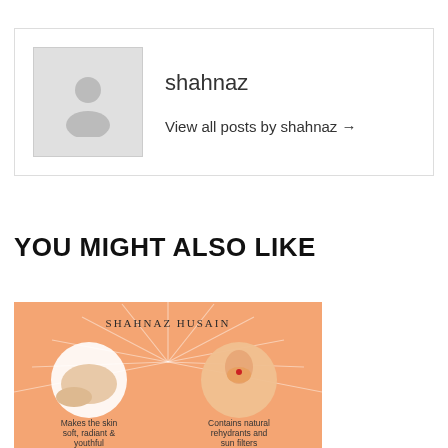[Figure (other): Author avatar placeholder with gray silhouette icon]
shahnaz
View all posts by shahnaz →
YOU MIGHT ALSO LIKE
[Figure (infographic): Shahnaz Husain promotional image with orange background showing two circular images: one of skin/shoulder and one of a woman's face with red dot on nose. Text reads 'Makes the skin soft, radiant & youthful' and 'Contains natural rehydrants and sun filters']